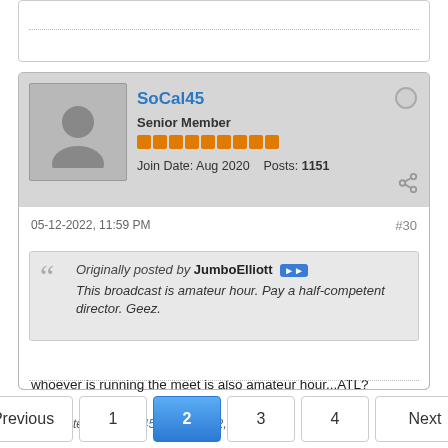(top stub — previous post truncated)
SoCal45
Senior Member
Join Date: Aug 2020   Posts: 1151
05-12-2022, 11:59 PM   #30
Originally posted by JumboElliott
This broadcast is amateur hour. Pay a half-competent director. Geez.
whoever is running the meet is also amateur hour...ATL?
Last edited by SoCal45; 05-13-2022, 12:02 AM.
Previous  1  2  3  4  Next